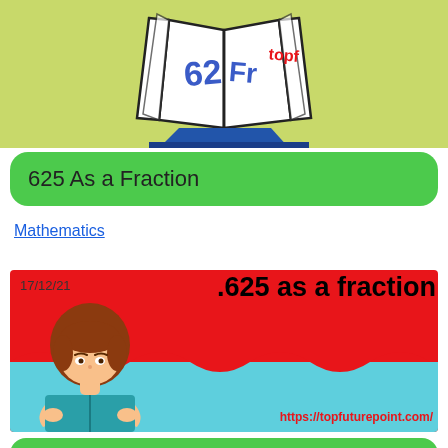[Figure (illustration): Book illustration with '625' and 'Fr' text visible on pages, on a yellow-green background]
625 As a Fraction
Mathematics
[Figure (illustration): Educational banner with red and teal background, girl reading a book, date 17/12/21, text '.625 as a fraction', and URL https://topfuturepoint.com/]
0.625 As a Fraction